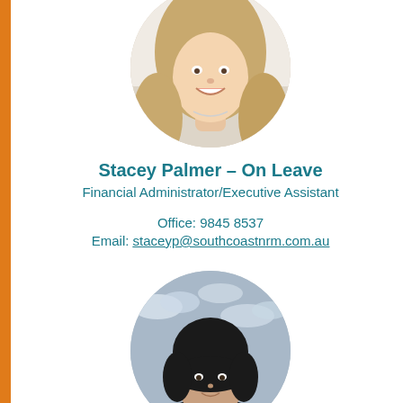[Figure (photo): Circular cropped headshot of Stacey Palmer, a blonde woman smiling, against a light background.]
Stacey Palmer – On Leave
Financial Administrator/Executive Assistant
Office: 9845 8537
Email: staceyp@southcoastnrm.com.au
[Figure (photo): Circular cropped headshot of a second person with dark hair, against a grey-blue sky background with cloud shapes.]